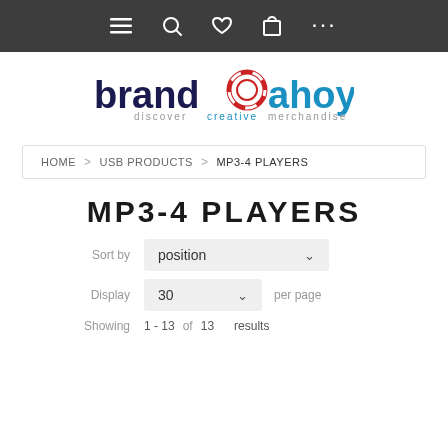[Figure (screenshot): Top navigation bar with hamburger menu, search, heart/wishlist, shopping bag, and ellipsis icons on dark background]
[Figure (logo): Brandahoy logo with lifesaver ring replacing the 'o', tagline: discover creative merchandise]
HOME > USB PRODUCTS > MP3-4 PLAYERS
MP3-4 PLAYERS
Sort by position
Display 30 per page
Showing 1 - 13 of 13 results